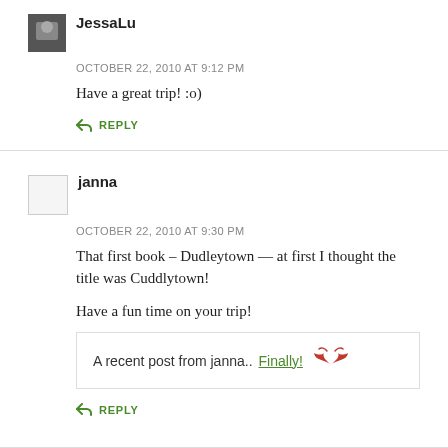JessaLu
OCTOBER 22, 2010 AT 9:12 PM
Have a great trip! :o)
↳ REPLY
janna
OCTOBER 22, 2010 AT 9:30 PM
That first book – Dudleytown — at first I thought the title was Cuddlytown!
Have a fun time on your trip!
A recent post from janna..Finally! 🦅
↳ REPLY